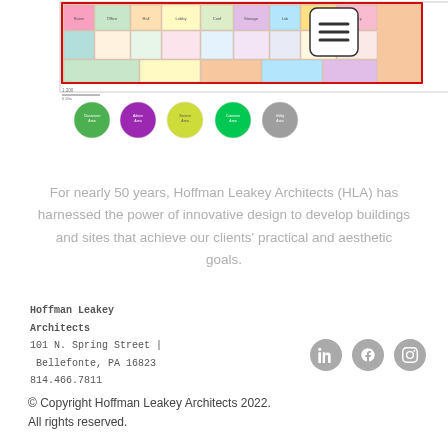[Figure (schematic): Architectural floor plan showing colored room layouts with legend circles below — green, purple, yellow, green, gray colored circles indicating room categories. Hamburger menu button in top right corner.]
For nearly 50 years, Hoffman Leakey Architects (HLA) has harnessed the power of innovative design to develop buildings and sites that achieve our clients' practical and aesthetic goals.
Hoffman Leakey Architects
101 N. Spring Street | Bellefonte, PA 16823
814.466.7811
[Figure (other): Three social media icons (LinkedIn, Facebook, Instagram) in gray circles]
© Copyright Hoffman Leakey Architects 2022. All rights reserved.